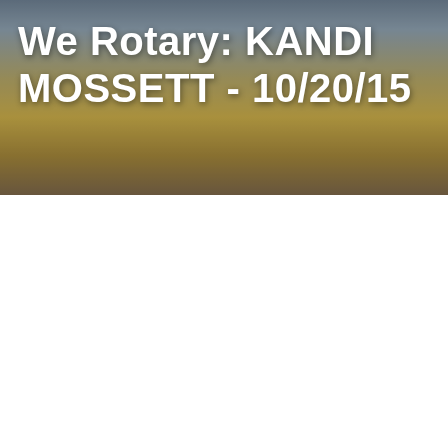We Rotary: KANDI MOSSETT - 10/20/15
[Figure (photo): Book cover: '"Energy Independence": The Environmental & Social Impacts Of The Bakken Oil Shale Boom' — cream/tan background with oil splatter on left side, and an inset photograph of an oil derrick silhouetted against a dramatic orange sunset sky.]